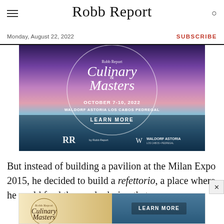Robb Report
Monday, August 22, 2022
SUBSCRIBE
[Figure (illustration): Robb Report Culinary Masters advertisement. October 7-10, 2022. Waldorf Astoria Los Cabos Pedregal. Learn More. Background shows a sunset ocean view with lanterns in the foreground.]
But instead of building a pavilion at the Milan Expo 2015, he decided to build a refettorio, a place where he could feed the needy during that
[Figure (illustration): Small bottom banner ad for Robb Report Culinary Masters with Learn More button.]